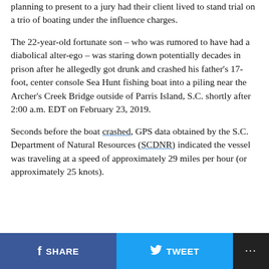planning to present to a jury had their client lived to stand trial on a trio of boating under the influence charges.
The 22-year-old fortunate son – who was rumored to have had a diabolical alter-ego – was staring down potentially decades in prison after he allegedly got drunk and crashed his father's 17-foot, center console Sea Hunt fishing boat into a piling near the Archer's Creek Bridge outside of Parris Island, S.C. shortly after 2:00 a.m. EDT on February 23, 2019.
Seconds before the boat crashed, GPS data obtained by the S.C. Department of Natural Resources (SCDNR) indicated the vessel was traveling at a speed of approximately 29 miles per hour (or approximately 25 knots).
SHARE   TWEET   ...